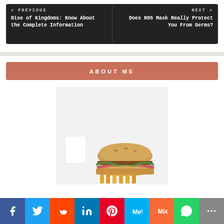« PREVIOUS
Rise of Kingdoms: Know About the Complete Information
NEXT »
Does N95 Mask Really Protect You From Germs?
ABOUT ME
[Figure (photo): A burger with toppings and a white cup, food photo on light background]
[Figure (infographic): Social media share bar with Facebook, Twitter, Reddit, LinkedIn, Pinterest, MeWe, Mix, WhatsApp, More buttons]